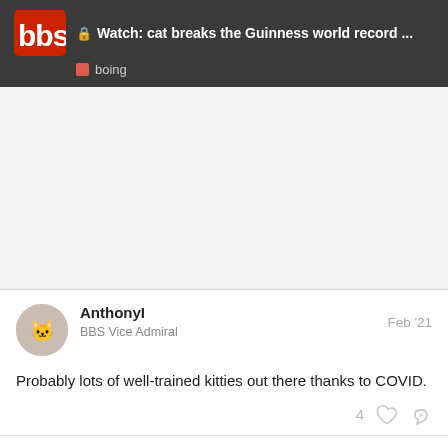Watch: cat breaks the Guinness world record ... | boing
Probably lots of well-trained kitties out there thanks to COVID.
AnthonyI · BBS Vice Admiral · Feb '21
AnthonyC · BBS Vice Admiral · 4 / 21